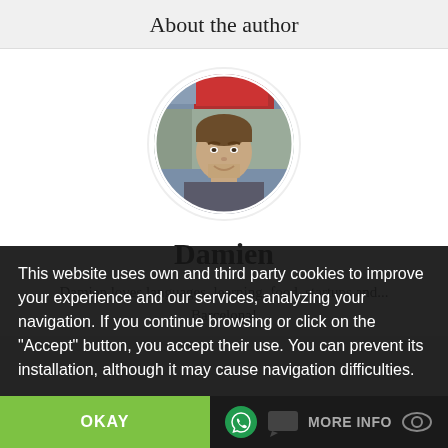About the author
[Figure (photo): Circular profile photo of a smiling young man with brown hair, outdoors with a blurred street background]
Damien
Damien loves languages, learning, food, startups and... Barcelona!
This website uses own and third party cookies to improve your experience and our services, analyzing your navigation. If you continue browsing or click on the "Accept" button, you accept their use. You can prevent its installation, although it may cause navigation difficulties.
OKAY
MORE INFO